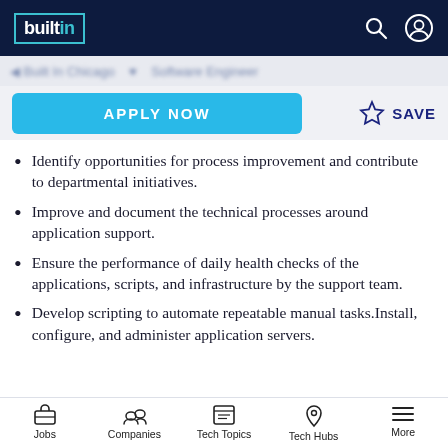builtin
Identify opportunities for process improvement and contribute to departmental initiatives.
Improve and document the technical processes around application support.
Ensure the performance of daily health checks of the applications, scripts, and infrastructure by the support team.
Develop scripting to automate repeatable manual tasks.Install, configure, and administer application servers.
Jobs   Companies   Tech Topics   Tech Hubs   More